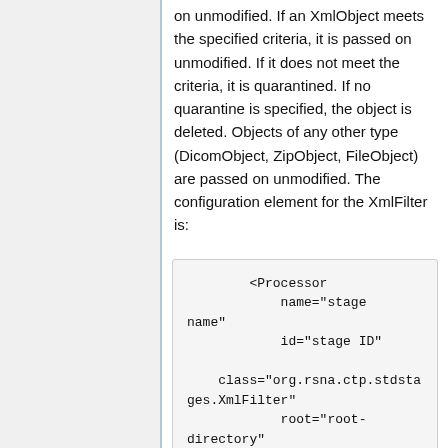on unmodified. If an XmlObject meets the specified criteria, it is passed on unmodified. If it does not meet the criteria, it is quarantined. If no quarantine is specified, the object is deleted. Objects of any other type (DicomObject, ZipObject, FileObject) are passed on unmodified. The configuration element for the XmlFilter is:
<Processor
            name="stage name"
            id="stage ID"

    class="org.rsna.ctp.stdstages.XmlFilter"
            root="root-directory"

    script="scripts/xml-filter.script"